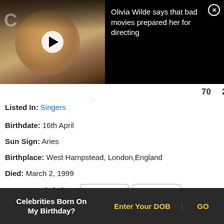[Figure (screenshot): Video thumbnail of a woman with blonde highlighted hair on a dark background, with a play button overlay. Adjacent dark panel with text: 'Olivia Wilde says that bad movies prepared her for directing' and a close (X) button.]
70   21
Listed In: Singers
Birthdate: 16th April
Sun Sign: Aries
Birthplace: West Hampstead, London,England
Died: March 2, 1999
Recommended Lists: Born: 1928  Born: 1929
Born: 1930
Celebrities Born On My Birthday? Enter Your DOB  GO